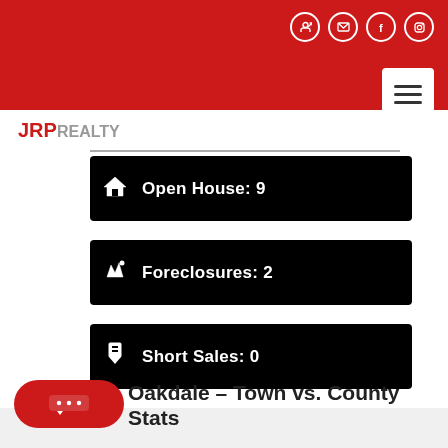JRP Realty website header with social icons and hamburger menu
[Figure (logo): JRP Realty logo, JRP in red, REALTY in gray]
Open House: 9
Foreclosures: 2
Short Sales: 0
Oakdale – Town vs. County Stats